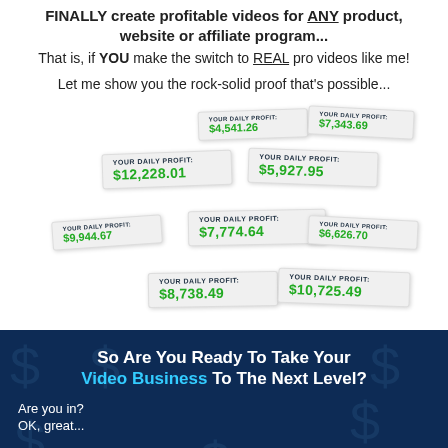FINALLY create profitable videos for ANY product, website or affiliate program...
That is, if YOU make the switch to REAL pro videos like me!
Let me show you the rock-solid proof that's possible...
[Figure (infographic): A collage of profit cards showing 'YOUR DAILY PROFIT:' with various dollar amounts in green: $4,541.26, $7,343.69, $12,228.01, $5,927.95, $9,944.67, $7,774.64, $6,626.70, $8,738.49, $10,725.49]
So Are You Ready To Take Your Video Business To The Next Level?
Are you in?
OK, great...